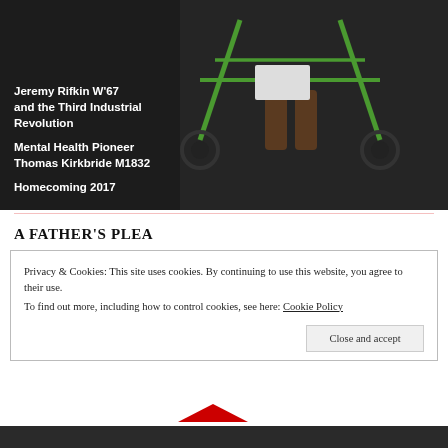[Figure (photo): Dark background photo showing legs and feet of a person using a green walker/mobility scooter device. White text overlaid on left side listing article topics: Jeremy Rifkin W'67 and the Third Industrial Revolution; Mental Health Pioneer Thomas Kirkbride M1832; Homecoming 2017]
A FATHER'S PLEA
Privacy & Cookies: This site uses cookies. By continuing to use this website, you agree to their use. To find out more, including how to control cookies, see here: Cookie Policy